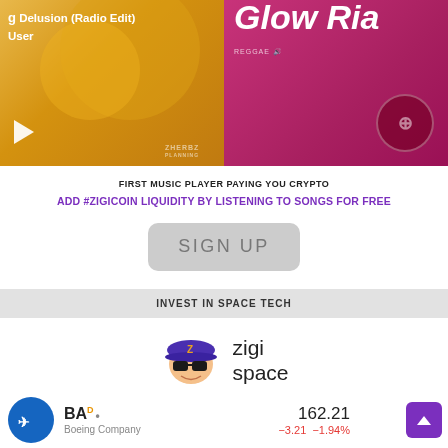[Figure (screenshot): Music player banner showing two album/song thumbnails: 'Delusion (Radio Edit) User' on left with play button, and 'Glow Ria' on right with reggae branding]
FIRST MUSIC PLAYER PAYING YOU CRYPTO
ADD #ZIGICOIN LIQUIDITY BY LISTENING TO SONGS FOR FREE
SIGN UP
INVEST IN SPACE TECH
[Figure (logo): Zigi Space logo: cartoon character with blue cap and glasses next to text 'zigi space']
BA D • Boeing Company 162.21 −3.21 −1.94%